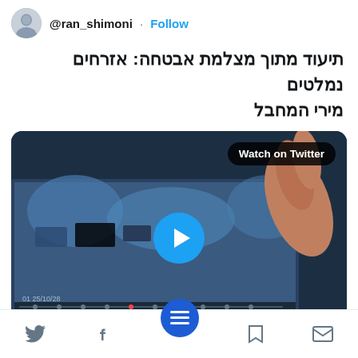@ran_shimoni · Follow
תיעוד מתוך מצלמת אבטחה: אזרחים נמלטים מירי המחבל
[Figure (screenshot): Video thumbnail showing security camera footage with a finger pointing at a screen. Blue play button overlay in center. 'Watch on Twitter' badge in top right. Video timeline bar at bottom.]
Twitter share bar with icons: Twitter bird, Facebook, menu (hamburger), bookmark, mail